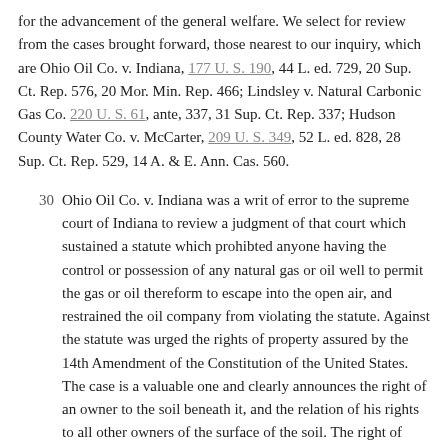for the advancement of the general welfare. We select for review from the cases brought forward, those nearest to our inquiry, which are Ohio Oil Co. v. Indiana, 177 U. S. 190, 44 L. ed. 729, 20 Sup. Ct. Rep. 576, 20 Mor. Min. Rep. 466; Lindsley v. Natural Carbonic Gas Co. 220 U. S. 61, ante, 337, 31 Sup. Ct. Rep. 337; Hudson County Water Co. v. McCarter, 209 U. S. 349, 52 L. ed. 828, 28 Sup. Ct. Rep. 529, 14 A. & E. Ann. Cas. 560.
30 Ohio Oil Co. v. Indiana was a writ of error to the supreme court of Indiana to review a judgment of that court which sustained a statute which prohibted anyone having the control or possession of any natural gas or oil well to permit the gas or oil thereform to escape into the open air, and restrained the oil company from violating the statute. Against the statute was urged the rights of property assured by the 14th Amendment of the Constitution of the United States. The case is a valuable one and clearly announces the right of an owner to the soil beneath it, and the relation of his rights to all other owners of the surface of the soil. The right of taking the gas, it was said, was common to all owners of the surface, and because of such a common right in all landowners, an unlimited use (against a wasteful use the statute was directed) by any it was competent for the state to prohibit. This limitation upon the surface owners of property was justified in the earlier be courts of appeal for jurisdiction that it...